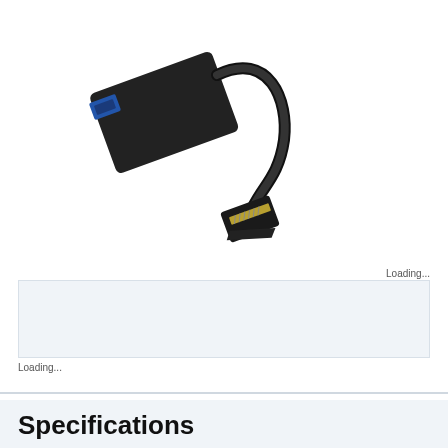[Figure (photo): HDMI to VGA adapter/converter. A black rectangular adapter box with a VGA female port on the left side and a short black cable with an HDMI male connector on the right side.]
Loading...
[Figure (other): Loading placeholder box with light blue-grey background - likely a review or ratings widget loading area]
Loading...
Specifications